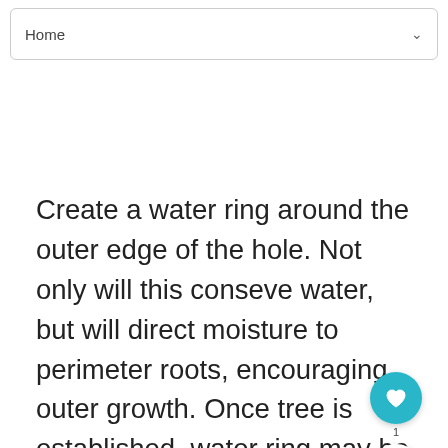Home
Create a water ring around the outer edge of the hole. Not only will this conseve water, but will direct moisture to perimeter roots, encouraging outer growth. Once tree is established, water ring may be leveled. Studies show that mulched trees grow faster than those unmulched, so add a 3"" layer of pinestraw, compost, or pulverized b... backfilled area. Remove any damaged limbs.
[Figure (other): What's Next thumbnail - apple image with text 'Picking the correct Appl...']